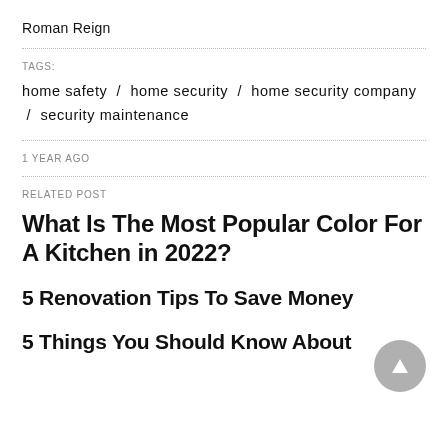Roman Reign
TAGS:
home safety / home security / home security company / security maintenance
1 YEAR AGO
RELATED POST
What Is The Most Popular Color For A Kitchen in 2022?
5 Renovation Tips To Save Money
5 Things You Should Know About